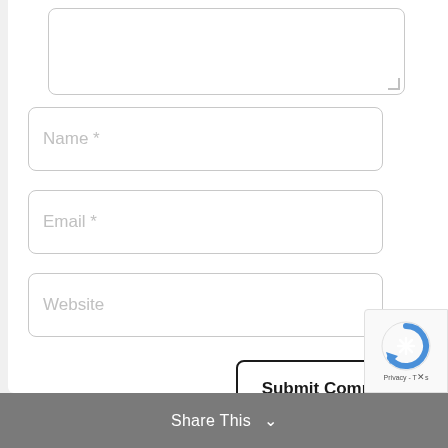[Figure (screenshot): Partially visible comment textarea input box at the top of the form]
Name *
Email *
Website
Submit Comment
Share This
[Figure (logo): reCAPTCHA badge with Privacy and Terms links]